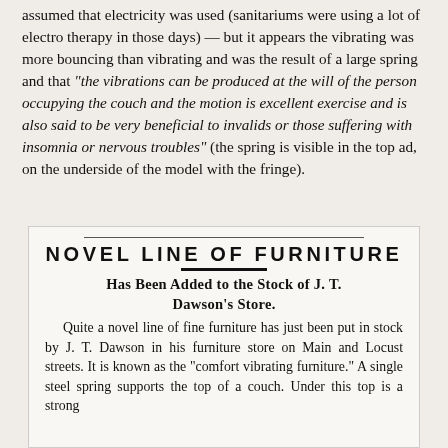assumed that electricity was used (sanitariums were using a lot of electro therapy in those days) — but it appears the vibrating was more bouncing than vibrating and was the result of a large spring and that "the vibrations can be produced at the will of the person occupying the couch and the motion is excellent exercise and is also said to be very beneficial to invalids or those suffering with insomnia or nervous troubles" (the spring is visible in the top ad, on the underside of the model with the fringe).
[Figure (other): Newspaper advertisement clipping with title 'NOVEL LINE OF FURNITURE', subtitle 'Has Been Added to the Stock of J. T. Dawson's Store.' and body text about comfort vibrating furniture.]